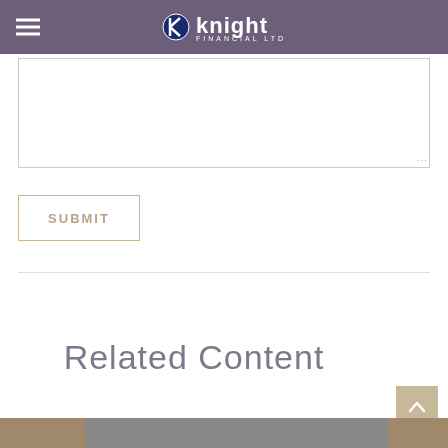Knight Financial Ltd
[Figure (screenshot): Text area input box (empty, resizable)]
SUBMIT
Related Content
[Figure (photo): Bottom strip photo showing a tablet device]